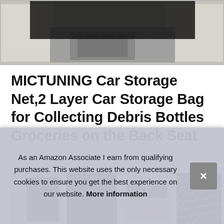[Figure (photo): Product image of a car storage net hanging between car seats from headrest poles, with black mesh netting and a silver center console visible]
MICTUNING Car Storage Net,2 Layer Car Storage Bag for Collecting Debris Bottles Groceries on the Back Seat
[Figure (photo): Row of four product thumbnail images showing the car storage net from different angles: installed in car, standalone front view, accessories/packaging, and close-up of mesh texture]
MICTUNING ... requ... whole storage mesh simple hook up to the headrest pole
As an Amazon Associate I earn from qualifying purchases. This website uses the only necessary cookies to ensure you get the best experience on our website. More information